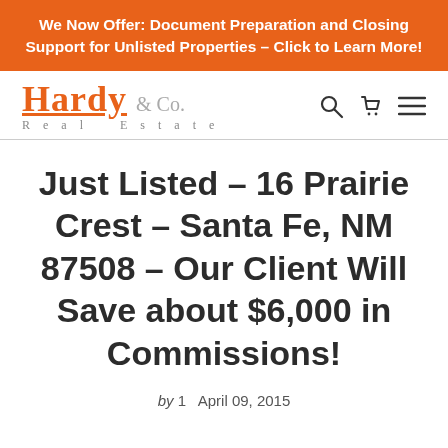We Now Offer: Document Preparation and Closing Support for Unlisted Properties – Click to Learn More!
[Figure (logo): Hardy & Co. Real Estate logo with search, cart, and menu icons]
Just Listed – 16 Prairie Crest – Santa Fe, NM 87508 – Our Client Will Save about $6,000 in Commissions!
by 1   April 09, 2015